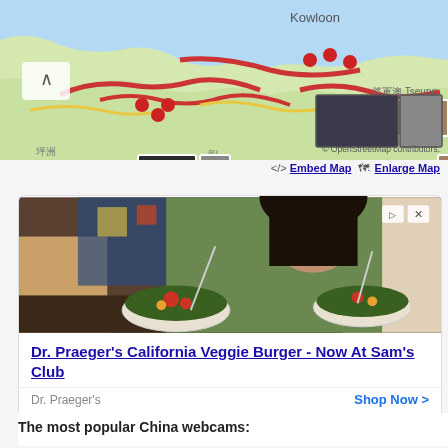[Figure (map): OpenStreetMap showing Hong Kong area including Kowloon, 將軍澳 Tseung Kwan O, 坪洲, with red markers and photo thumbnails overlaid. Map credit: © OpenStreetMap contributors.]
<> Embed Map   Enlarge Map
[Figure (photo): Advertisement image showing two people eating salad bowls at a restaurant]
Dr. Praeger's California Veggie Burger - Now At Sam's Club
Dr. Praeger's   Shop Now >
The most popular China webcams: